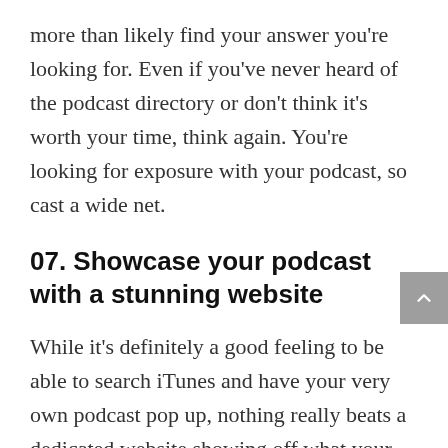more than likely find your answer you're looking for. Even if you've never heard of the podcast directory or don't think it's worth your time, think again. You're looking for exposure with your podcast, so cast a wide net.
07. Showcase your podcast with a stunning website
While it's definitely a good feeling to be able to search iTunes and have your very own podcast pop up, nothing really beats a dedicated website showing off what your podcast and the people behind it are all about. Not only can you link your